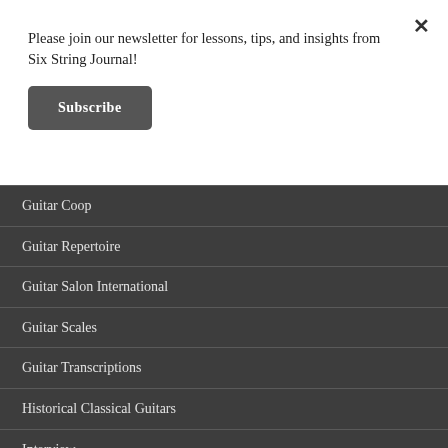Please join our newsletter for lessons, tips, and insights from Six String Journal!
Subscribe
Guitar Coop
Guitar Repertoire
Guitar Salon International
Guitar Scales
Guitar Transcriptions
Historical Classical Guitars
Interview
Isaac Albeniz